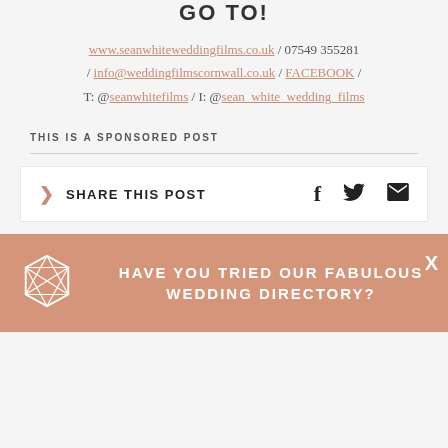GO TO!
www.seanwhiteweddingfilms.co.uk / 07549 355281 / info@weddingfilmscornwall.co.uk / FACEBOOK / T: @seanwhitefilms / I: @sean_white_wedding_films
THIS IS A SPONSORED POST
SHARE THIS POST
HAVE YOU TRIED OUR FABULOUS WEDDING DIRECTORY?